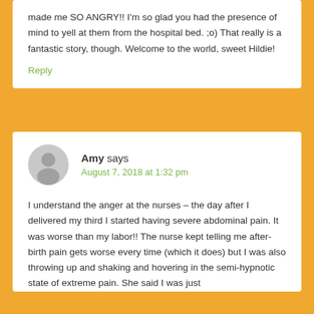made me SO ANGRY!! I'm so glad you had the presence of mind to yell at them from the hospital bed. ;o) That really is a fantastic story, though. Welcome to the world, sweet Hildie!
Reply
Amy says
August 7, 2018 at 1:32 pm
I understand the anger at the nurses – the day after I delivered my third I started having severe abdominal pain. It was worse than my labor!! The nurse kept telling me after-birth pain gets worse every time (which it does) but I was also throwing up and shaking and hovering in the semi-hypnotic state of extreme pain. She said I was just